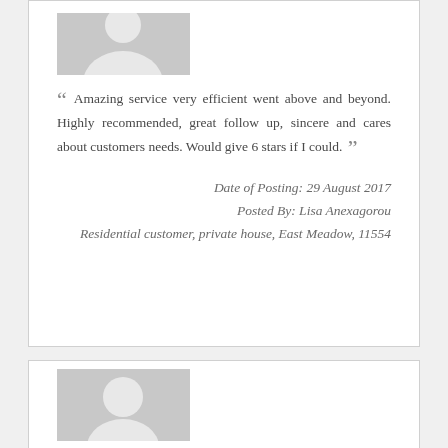[Figure (illustration): Gray placeholder avatar image of a person silhouette (upper body, formal)]
“ Amazing service very efficient went above and beyond. Highly recommended, great follow up, sincere and cares about customers needs. Would give 6 stars if I could. ”
Date of Posting: 29 August 2017
Posted By: Lisa Anexagorou
Residential customer, private house, East Meadow, 11554
[Figure (illustration): Gray placeholder avatar image of a person silhouette (head and shoulders, circular head)]